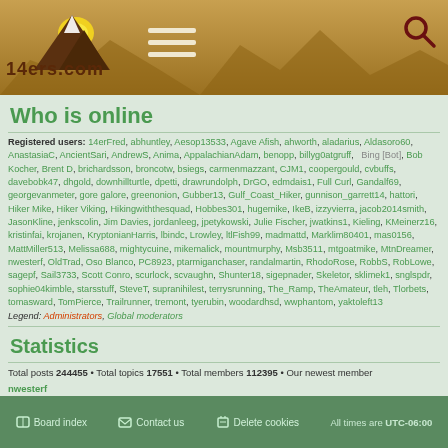14ers.com
Who is online
Registered users: 14erFred, abhuntley, Aesop13533, Agave Afish, ahworth, aladarius, Aldasoro60, AnastasiaC, AncientSari, AndrewS, Anima, AppalachianAdam, benopp, billyg0atgruff, Bing [Bot], Bob Kocher, Brent D, brichardsson, broncotw, bsiegs, carmenmazzant, CJM1, coopergould, cvbuffs, davebobk47, dhgold, downhillturtle, dpetti, drawrundolph, DrGO, edmdais1, Full Curl, Gandalf69, georgevanmeter, gore galore, greenonion, Gubber13, Gulf_Coast_Hiker, gunnison_garrett14, hattori, Hiker Mike, Hiker Viking, Hikingwiththesquad, Hobbes301, hugemike, IkeB, izzyvierra, jacob2014smith, JasonKline, jenkscolin, Jim Davies, jordanleeg, jpetykowski, Julie Fischer, jwatkins1, Kieling, KMeinerz16, kristinfai, krojanen, KryptonianHarris, lbindc, Lrowley, ltlFish99, madmattd, Marklim80401, mas0156, MattMiller513, Melissa688, mightycuine, mikemalick, mountmurphy, Msb3511, mtgoatmike, MtnDreamer, nwesterf, OldTrad, Oso Blanco, PC8923, ptarmiganchaser, randalmartin, RhodoRose, RobbS, RobLowe, sagepf, Sail3733, Scott Conro, scurlock, scvaughn, Shunter18, sigepnader, Skeletor, sklimek1, snglspdr, sophie04kimble, starsstuff, SteveT, supranihilest, terrysrunning, The_Ramp, TheAmateur, tleh, Tlorbets, tomasward, TomPierce, Trailrunner, tremont, tyerubin, woodardhsd, wwphantom, yaktoleft13
Legend: Administrators, Global moderators
Statistics
Total posts 244455 • Total topics 17551 • Total members 112395 • Our newest member nwesterf
Board index   Contact us   Delete cookies   All times are UTC-06:00